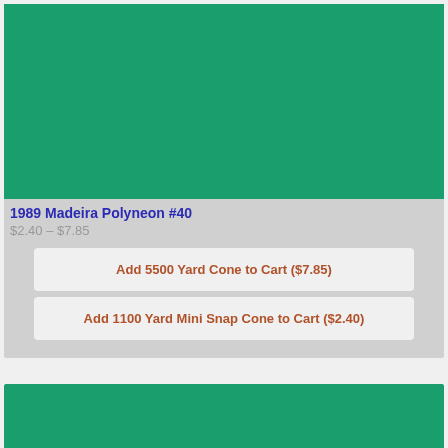[Figure (photo): Solid teal/green colored rectangle representing a product image for Madeira Polyneon #40 thread]
1989 Madeira Polyneon #40
$2.40 – $7.85
Add 5500 Yard Cone to Cart ($7.85)
Add 1100 Yard Mini Snap Cone to Cart ($2.40)
[Figure (photo): Solid green colored rectangle representing a second product image]